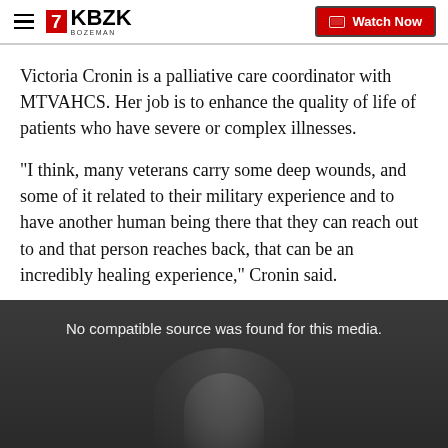7KBZK BOZEMAN | Watch Now
Victoria Cronin is a palliative care coordinator with MTVAHCS. Her job is to enhance the quality of life of patients who have severe or complex illnesses.
"I think, many veterans carry some deep wounds, and some of it related to their military experience and to have another human being there that they can reach out to and that person reaches back, that can be an incredibly healing experience," Cronin said.
[Figure (screenshot): Video player showing a person with a dark background and text overlay reading 'No compatible source was found for this media.']